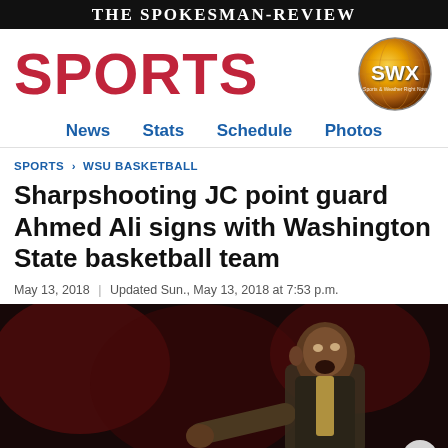The Spokesman-Review
SPORTS
[Figure (logo): SWX Sports & Weather Right Now logo — gold globe with SWX text]
News  Stats  Schedule  Photos
SPORTS > WSU BASKETBALL
Sharpshooting JC point guard Ahmed Ali signs with Washington State basketball team
May 13, 2018  |  Updated Sun., May 13, 2018 at 7:53 p.m.
[Figure (photo): Basketball coach pointing and shouting on court, dark background with red arena lights]